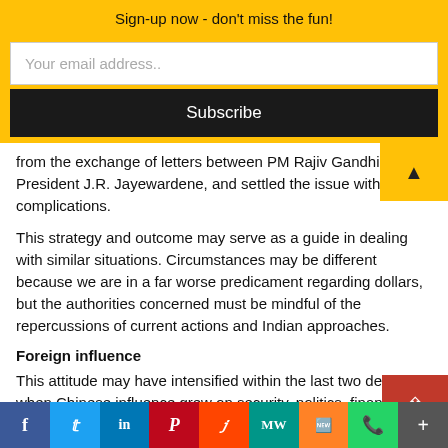Sign-up now - don't miss the fun!
Your email address..
Subscribe
from the exchange of letters between PM Rajiv Gandhi and President J.R. Jayewardene, and settled the issue without complications.
This strategy and outcome may serve as a guide in dealing with similar situations. Circumstances may be different because we are in a far worse predicament regarding dollars, but the authorities concerned must be mindful of the repercussions of current actions and Indian approaches.
Foreign influence
This attitude may have intensified within the last two decades when Chinese influence grew on security, politics, finance of nations in trouble including Sri L
f  Twitter  in  P  Reddit  MW  mix  WhatsApp  More